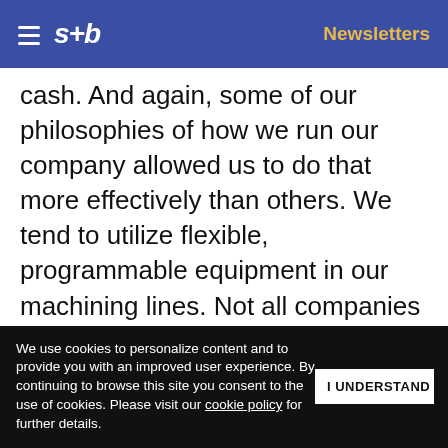s+b | Newsletters
cash. And again, some of our philosophies of how we run our company allowed us to do that more effectively than others. We tend to utilize flexible, programmable equipment in our machining lines. Not all companies do that. A lot of companies use special-purpose equipment, which by definition is custom-made for that particular part, and it does tend to be more expensive. But your volumes
Get s+b's award-winning newsletter delivered to your inbox.
We use cookies to personalize content and to provide you with an improved user experience. By continuing to browse this site you consent to the use of cookies. Please visit our cookie policy for further details.